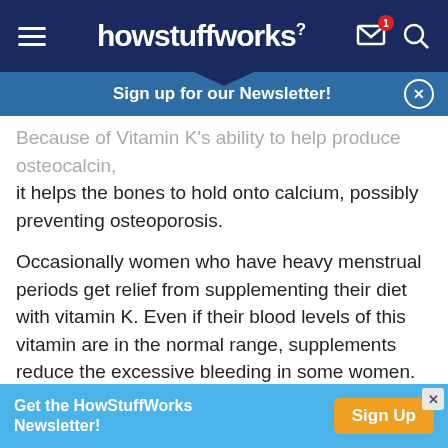howstuffworks
Sign up for our Newsletter!
Because of Vitamin K's ability to help produce osteocalcin, it helps the bones to hold onto calcium, possibly preventing osteoporosis.
Occasionally women who have heavy menstrual periods get relief from supplementing their diet with vitamin K. Even if their blood levels of this vitamin are in the normal range, supplements reduce the excessive bleeding in some women.
Some small studies have also shown a benefit for pregnant women. Small supplemental doses, about 50 mg, often reduces the nausea associated with the first trimester
Get the HowStuffWorks Newsletter!